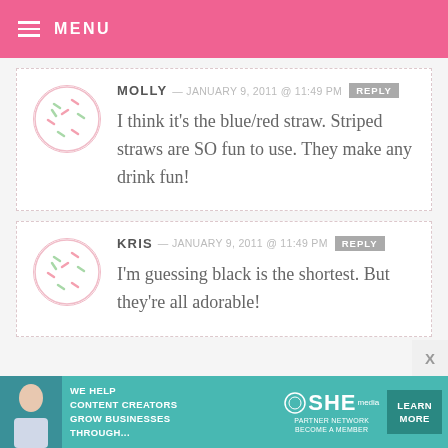MENU
MOLLY — JANUARY 9, 2011 @ 11:49 PM REPLY
I think it's the blue/red straw. Striped straws are SO fun to use. They make any drink fun!
KRIS — JANUARY 9, 2011 @ 11:49 PM REPLY
I'm guessing black is the shortest. But they're all adorable!
[Figure (infographic): SHE Partner Network advertisement banner: 'We help content creators grow businesses through...' with a LEARN MORE button]